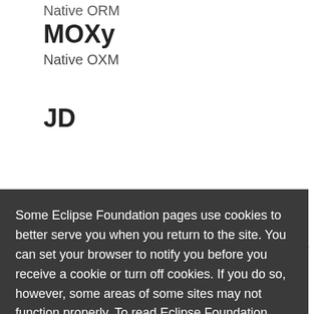Native ORM
MOXy
Native OXM
JD
Some Eclipse Foundation pages use cookies to better serve you when you return to the site. You can set your browser to notify you before you receive a cookie or turn off cookies. If you do so, however, some areas of some sites may not function properly. To read Eclipse Foundation Privacy Policy click here.
Decline
Allow cookies
About Us